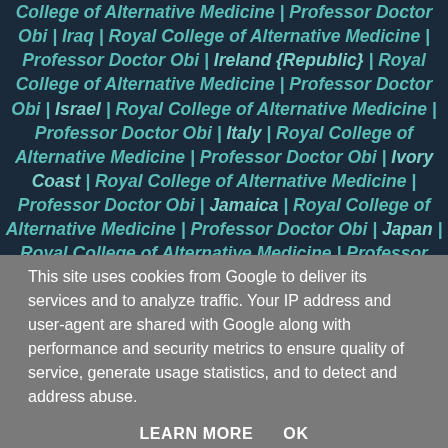College of Alternative Medicine | Professor Doctor Obi | Iraq | Royal College of Alternative Medicine | Professor Doctor Obi | Ireland {Republic} | Royal College of Alternative Medicine | Professor Doctor Obi | Israel | Royal College of Alternative Medicine | Professor Doctor Obi | Italy | Royal College of Alternative Medicine | Professor Doctor Obi | Ivory Coast | Royal College of Alternative Medicine | Professor Doctor Obi | Jamaica | Royal College of Alternative Medicine | Professor Doctor Obi | Japan | Royal College of Alternative Medicine | Professor Doctor Obi | Jordan | Royal College of Alternative Medicine | Professor Doctor Obi | Kazakhstan | Royal College of Alternative Medicine | Professor Doctor Obi | Kenya | Royal College of Alternative Medicine | Professor Doctor Obi | Kiribati | Royal College of Alternative Medicine | Professor Doctor Obi | Korea North | Royal College of Alternative Medicine | Professor Doctor Obi | Korea South | Royal College of Alternative
This site uses cookies from Google to deliver its services and to analyze traffic. Your IP address and user-agent are shared with Google along with performance and security metrics to ensure quality of service, generate usage statistics, and to detect and address abuse.
LEARN MORE    OK